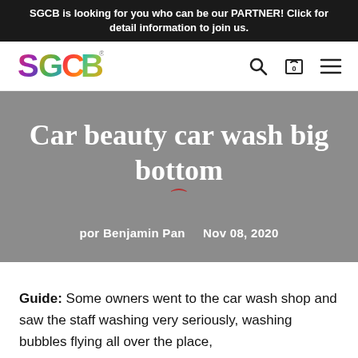SGCB is looking for you who can be our PARTNER! Click for detail information to join us.
[Figure (logo): SGCB colorful logo with stylized letters S, G, C, B in multicolor on white background]
Car beauty car wash big bottom
por Benjamin Pan   Nov 08, 2020
Guide: Some owners went to the car wash shop and saw the staff washing very seriously, washing bubbles flying all over the place,